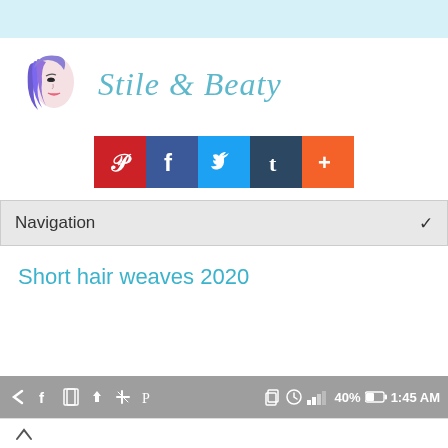[Figure (logo): Stile & Beaty logo with illustrated woman face and stylized script text]
[Figure (infographic): Five social media icon buttons: Pinterest (red), Facebook (dark blue), Twitter (light blue), Tumblr (dark navy), Google+ (orange)]
Navigation
Short hair weaves 2020
[Figure (screenshot): Mobile browser bottom navigation bar with back arrow, Facebook, bookmarks, share, Pinterest icons, plus status bar showing 40% battery and 1:45 AM]